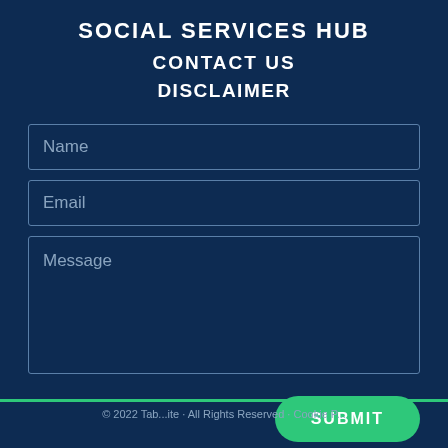SOCIAL SERVICES HUB
CONTACT US
DISCLAIMER
Name
Email
Message
SUBMIT
© 2022 Tab...ite · All Rights Reserved · Cookie P...